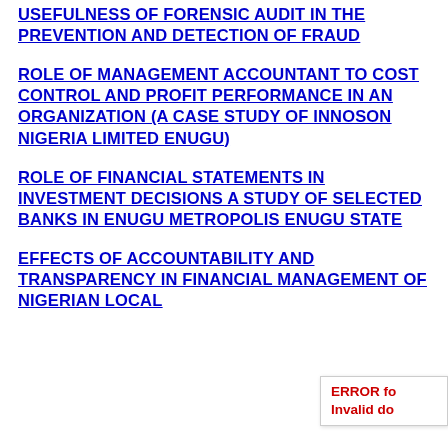USEFULNESS OF FORENSIC AUDIT IN THE PREVENTION AND DETECTION OF FRAUD
ROLE OF MANAGEMENT ACCOUNTANT TO COST CONTROL AND PROFIT PERFORMANCE IN AN ORGANIZATION (A CASE STUDY OF INNOSON NIGERIA LIMITED ENUGU)
ROLE OF FINANCIAL STATEMENTS IN INVESTMENT DECISIONS A STUDY OF SELECTED BANKS IN ENUGU METROPOLIS ENUGU STATE
EFFECTS OF ACCOUNTABILITY AND TRANSPARENCY IN FINANCIAL MANAGEMENT OF NIGERIAN LOCAL